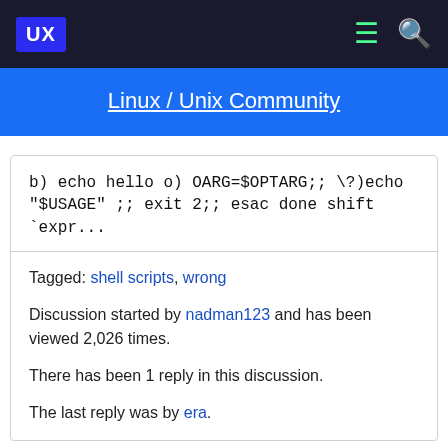UX | Linux / Unix Community
b) echo hello o) OARG=$OPTARG;; \?)echo "$USAGE" ;; exit 2;; esac done shift `expr...
Tagged: shell scripts, wrong
Discussion started by nadman123 and has been viewed 2,026 times.
There has been 1 reply in this discussion.
The last reply was by era.
6 Shell Programming & Scripting